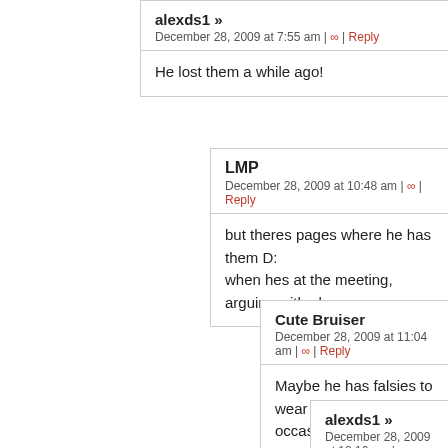alexds1 »
December 28, 2009 at 7:55 am | ∞ | Reply
He lost them a while ago!
LMP
December 28, 2009 at 10:48 am | ∞ | Reply
but theres pages where he has them D:
when hes at the meeting, arguing with phe
Cute Bruiser
December 28, 2009 at 11:04 am | ∞ | Reply
Maybe he has falsies to wear for special occassio
alexds1 »
December 28, 2009 at 12:16 pm | ∞